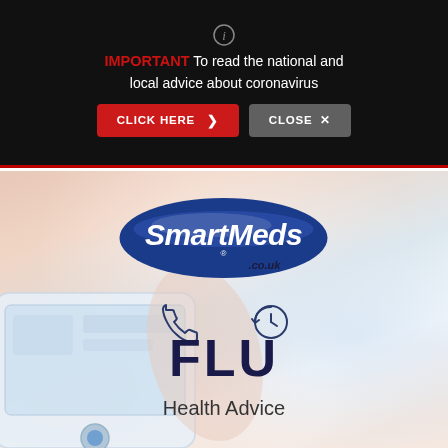IMPORTANT  To read the national and local advice about coronavirus
CLICK HERE >   CLOSE ×
[Figure (logo): SmartMeds.co.uk logo — white italic text on dark blue oval with .co.uk subtitle]
[Figure (illustration): Phone icon and history/clock icon in outline style]
FLU
Health Advice